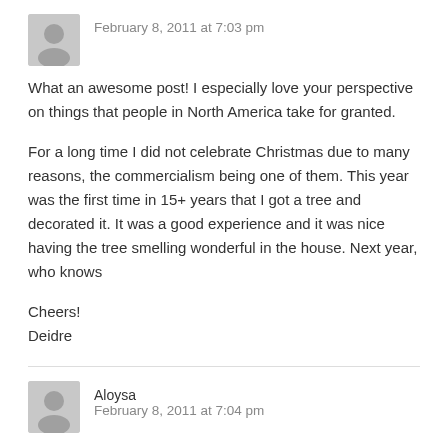February 8, 2011 at 7:03 pm
What an awesome post! I especially love your perspective on things that people in North America take for granted.
For a long time I did not celebrate Christmas due to many reasons, the commercialism being one of them. This year was the first time in 15+ years that I got a tree and decorated it. It was a good experience and it was nice having the tree smelling wonderful in the house. Next year, who knows
Cheers!
Deidre
Aloysa
February 8, 2011 at 7:04 pm